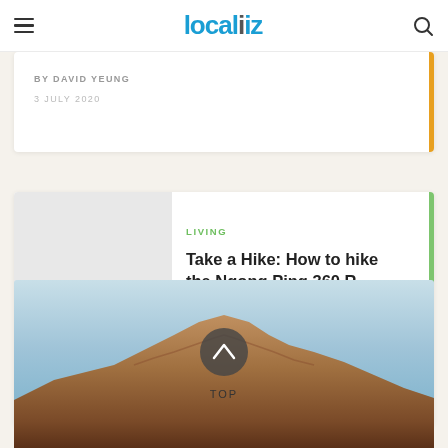localiz
BY DAVID YEUNG
3 JULY 2020
LIVING
Take a Hike: How to hike the Ngong Ping 360 R...
BY PETER LAM
28 SEPTEMBER 2018
[Figure (photo): Mountain landscape with brown rocky peak against blue sky, with a back-to-top button overlay showing chevron up arrow and TOP label]